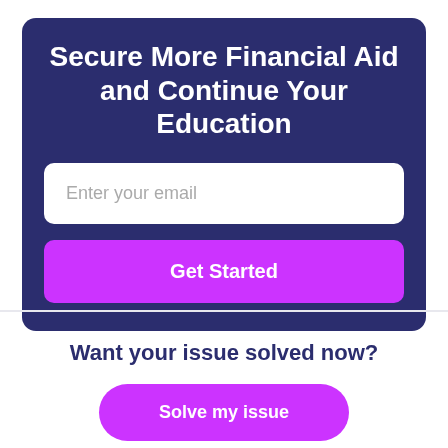Secure More Financial Aid and Continue Your Education
Enter your email
Get Started
Want your issue solved now?
Solve my issue